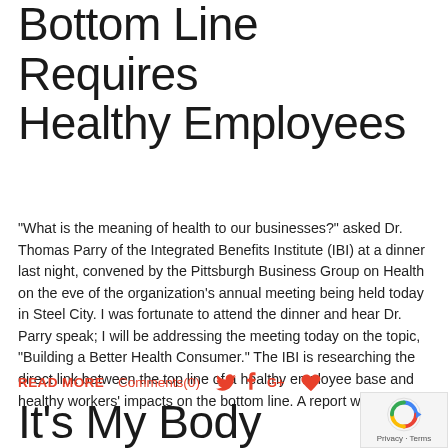Bottom Line Requires Healthy Employees
“What is the meaning of health to our businesses?” asked Dr. Thomas Parry of the Integrated Benefits Institute (IBI) at a dinner last night, convened by the Pittsburgh Business Group on Health on the eve of the organization’s annual meeting being held today in Steel City. I was fortunate to attend the dinner and hear Dr. Parry speak; I will be addressing the meeting today on the topic, “Building a Better Health Consumer.” The IBI is researching the direct link between the top line of a healthy employee base and healthy workers’ impacts on the bottom line. A report will be
READ MORE   Comments(0)
It’s My Body And I’ll Test If I Want To